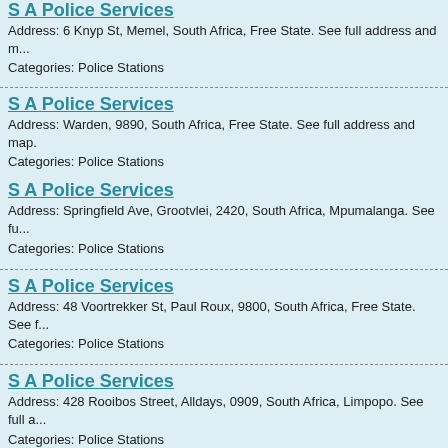S A Police Services
Address: 6 Knyp St, Memel, South Africa, Free State. See full address and m...
Categories: Police Stations
S A Police Services
Address: Warden, 9890, South Africa, Free State. See full address and map.
Categories: Police Stations
S A Police Services
Address: Springfield Ave, Grootvlei, 2420, South Africa, Mpumalanga. See fu...
Categories: Police Stations
S A Police Services
Address: 48 Voortrekker St, Paul Roux, 9800, South Africa, Free State. See f...
Categories: Police Stations
S A Police Services
Address: 428 Rooibos Street, Alldays, 0909, South Africa, Limpopo. See full a...
Categories: Police Stations
S A Police Services
Address: 24 Landros Martens St, Lichtenburg, 2740, South Africa, North Wes...
Categories: Police Stations